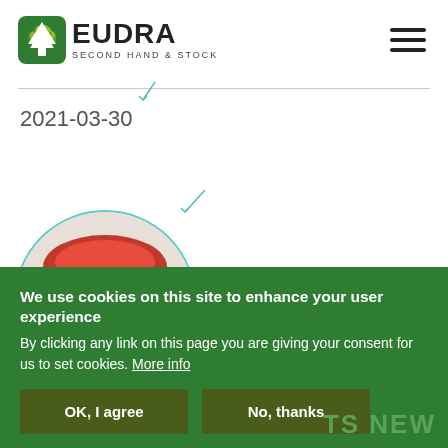[Figure (logo): Eudra Second Hand & Stock logo with green tree icon]
2021-03-30
[Figure (photo): Circular cropped photo of bundled outdoor jackets with a label reading OUTDOOR JACKETS]
We use cookies on this site to enhance your user experience By clicking any link on this page you are giving your consent for us to set cookies. More info
OK, I agree
No, thanks
TS NEW